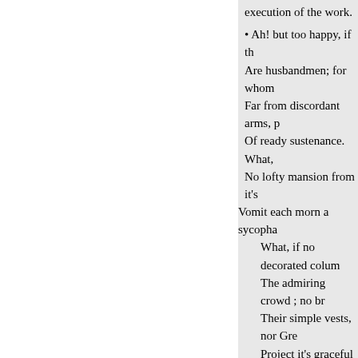execution of the work.
Ah! but too happy, if th
Are husbandmen; for whom
Far from discordant arms, p
Of ready sustenance. What,
No lofty mansion from it's
Vomit each morn a sycopha
What, if no decorated colum
The admiring crowd ; no br
Their simple vests, nor Gre
Project it's graceful form; n
Their spotless wool, nor vi
Of eastern perfume taint the
Yet rest secure, and life tha
Rich in the various wealth o
Caves and the living lake ;
And lowing herds and shad
Are theirs : for them the wo
Theirs are the pleasures of
Of labour patient and of fru
Theirs the pure altar i their
Leaving *mongst them her